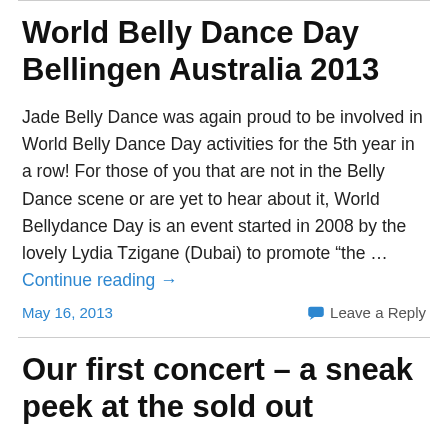World Belly Dance Day Bellingen Australia 2013
Jade Belly Dance was again proud to be involved in World Belly Dance Day activities for the 5th year in a row! For those of you that are not in the Belly Dance scene or are yet to hear about it, World Bellydance Day is an event started in 2008 by the lovely Lydia Tzigane (Dubai) to promote “the … Continue reading →
May 16, 2013
Leave a Reply
Our first concert – a sneak peek at the sold out